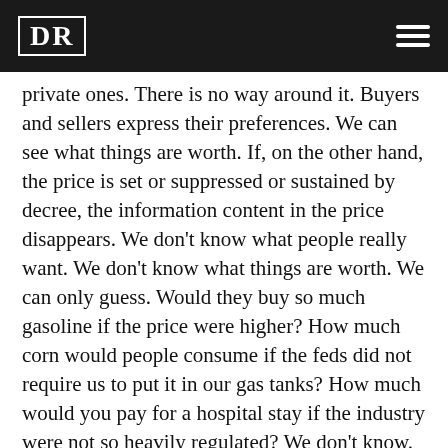DR
private ones. There is no way around it. Buyers and sellers express their preferences. We can see what things are worth. If, on the other hand, the price is set or suppressed or sustained by decree, the information content in the price disappears. We don’t know what people really want. We don’t know what things are worth. We can only guess. Would they buy so much gasoline if the price were higher? How much corn would people consume if the feds did not require us to put it in our gas tanks? How much would you pay for a hospital stay if the industry were not so heavily regulated? We don’t know.
Any attempt to fiddle with the system, dictate prices, favor one industry over another or change preferences